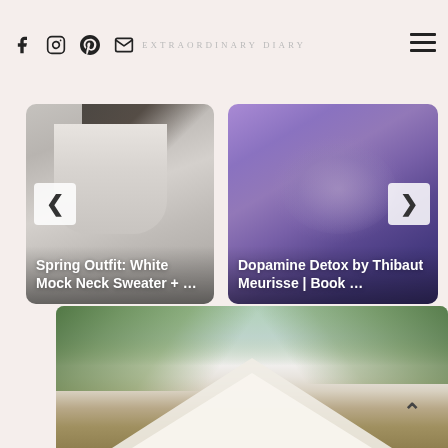EXTRAORDINARY DIARY
[Figure (photo): Card with photo of woman in white mock neck sweater, with left navigation arrow and title overlay]
[Figure (photo): Card with purple/blue brain image, with right navigation arrow and title overlay reading 'Dopamine Detox by Thibaut Meurisse | Book ...']
[Figure (photo): Bottom image showing tropical palm leaves and pointed roof/building structure with scroll-up arrow button]